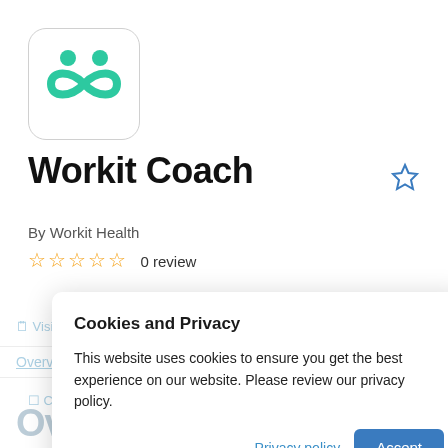[Figure (logo): Workit Coach app icon: white rounded square with teal/green infinity-loop and two person figures on top]
Workit Coach
By Workit Health
☆☆☆☆☆  0 review
[Figure (screenshot): Cookie and Privacy modal overlay on a website listing page for Workit Coach app, showing 'Cookies and Privacy' header, descriptive text, Privacy policy link, and Accept button]
Overview